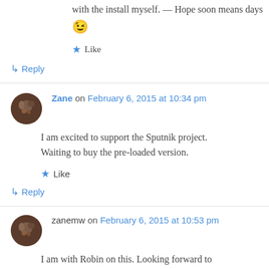with the install myself. — Hope soon means days 😉
★ Like
↳ Reply
Zane on February 6, 2015 at 10:34 pm
I am excited to support the Sputnik project. Waiting to buy the pre-loaded version.
★ Like
↳ Reply
zanemw on February 6, 2015 at 10:53 pm
I am with Robin on this. Looking forward to supporting Sputnik… We need a simple…